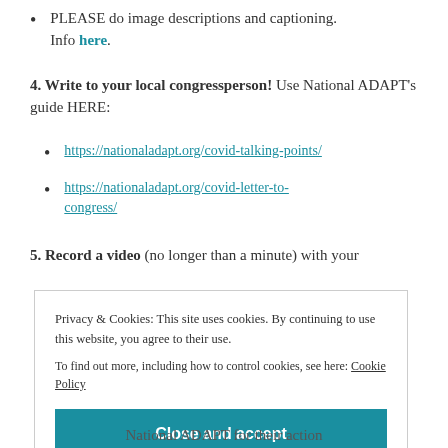PLEASE do image descriptions and captioning. Info here.
4. Write to your local congressperson! Use National ADAPT's guide HERE:
https://nationaladapt.org/covid-talking-points/
https://nationaladapt.org/covid-letter-to-congress/
5. Record a video (no longer than a minute) with your
Privacy & Cookies: This site uses cookies. By continuing to use this website, you agree to their use.
To find out more, including how to control cookies, see here: Cookie Policy
Close and accept
National ADAPT for their action